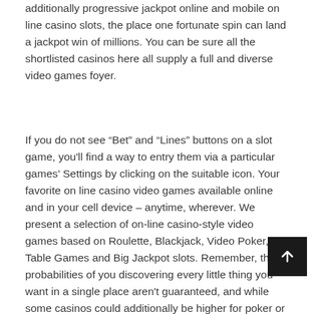additionally progressive jackpot online and mobile on line casino slots, the place one fortunate spin can land a jackpot win of millions. You can be sure all the shortlisted casinos here all supply a full and diverse video games foyer.
If you do not see “Bet” and “Lines” buttons on a slot game, you'll find a way to entry them via a particular games’ Settings by clicking on the suitable icon. Your favorite on line casino video games available online and in your cell device – anytime, wherever. We present a selection of on-line casino-style video games based on Roulette, Blackjack, Video Poker, Table Games and Big Jackpot slots. Remember, the probabilities of you discovering every little thing you want in a single place aren't guaranteed, and while some casinos could additionally be higher for poker or table video games, others may be better fo… Five reel slots also provide much more alternatives for b… and many of the greatest on-line casino bonuses could be di…
[Figure (other): Scroll-to-top button: dark square with white upward arrow]